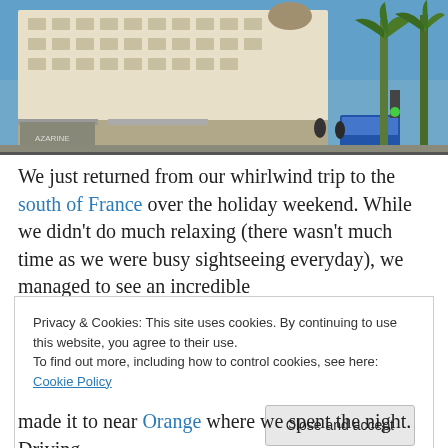[Figure (photo): Street-level photo of a grand European hotel building (likely Cannes, France) with ornate white facade, palm trees against a blue sky, and street-level shops below]
We just returned from our whirlwind trip to the south of France over the holiday weekend.  While we didn't do much relaxing (there wasn't much time as we were busy sightseeing everyday), we managed to see an incredible
Privacy & Cookies: This site uses cookies. By continuing to use this website, you agree to their use.
To find out more, including how to control cookies, see here: Cookie Policy
made it to near Orange where we spent the night.  Driving